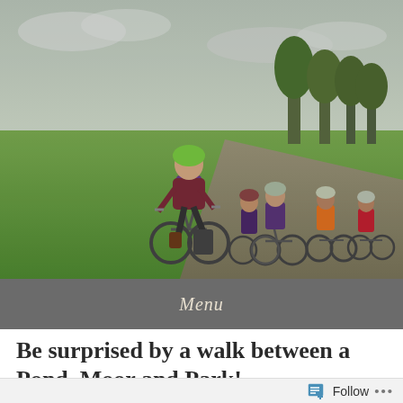[Figure (photo): A group of women cyclists riding on a path through a green park. The lead cyclist wears a purple vest over a maroon jacket and a green helmet. Other cyclists behind her wear colorful jackets and helmets. Leafy trees are visible in the background under an overcast sky.]
Menu
Be surprised by a walk between a Pond, Moor and Park!